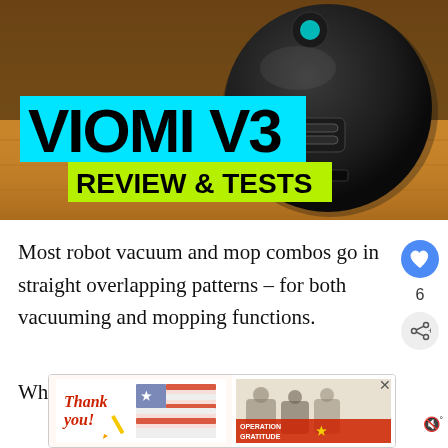[Figure (photo): Viomi V3 robot vacuum on a wooden floor background. The robot is circular and dark colored with sensor on top. Bold text overlay reads 'VIOMI V3' on a cyan background and 'REVIEW & TESTS' on a yellow-green background.]
Most robot vacuum and mop combos go in straight overlapping patterns – for both vacuuming and mopping functions.
While this can be effective, I feel it isn't enough,
[Figure (other): Advertisement banner: Thank you military appreciation ad for Operation Gratitude with American flag imagery.]